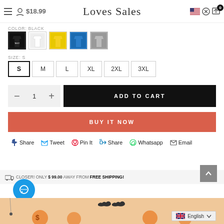Loves Sales — $18.99
COLOR: BLACK
[Figure (photo): Five color swatch thumbnails of t-shirts: black, white, yellow, blue, grey]
SIZE: S
Size options: S (selected), M, L, XL, 2XL, 3XL
Quantity: 1, Add to Cart button
BUY IT NOW
Share  Tweet  Pin It  Share  Whatsapp  Email
CLOSER! ONLY $99.00 AWAY FROM FREE SHIPPING!
[Figure (illustration): Halloween decorative banner with bats and orange pumpkin motifs on beige background]
English language selector